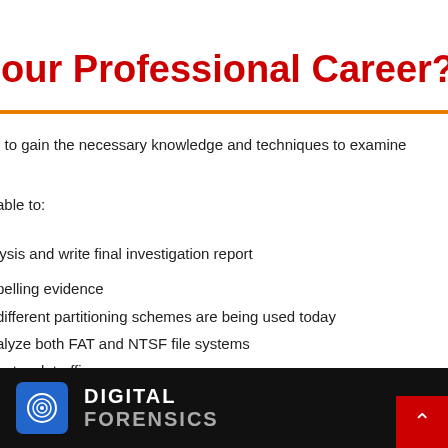'our Professional Career?
u to gain the necessary knowledge and techniques to examine
able to:
lysis and write final investigation report
pelling evidence
different partitioning schemes are being used today
alyze both FAT and NTSF file systems
network traffic
cts, Windows Registry, and User Profiles
rmed on a system under investigation.
[Figure (photo): Dark banner image with a blue fingerprint icon and text reading DIGITAL FORENSICS]